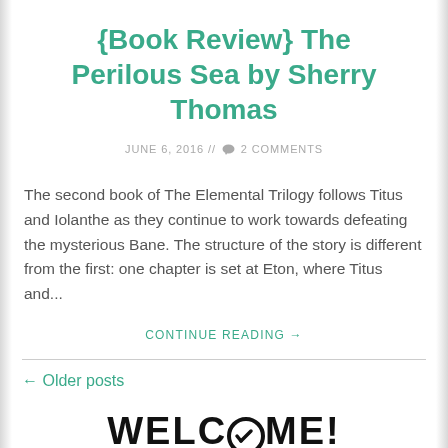{Book Review} The Perilous Sea by Sherry Thomas
JUNE 6, 2016 // 2 COMMENTS
The second book of The Elemental Trilogy follows Titus and Iolanthe as they continue to work towards defeating the mysterious Bane. The structure of the story is different from the first: one chapter is set at Eton, where Titus and...
CONTINUE READING →
← Older posts
WELCOME!